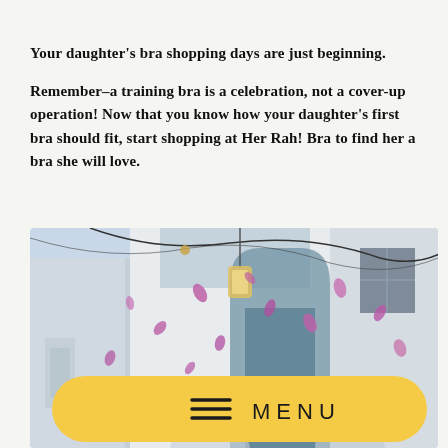Your daughter's bra shopping days are just beginning.
Remember–a training bra is a celebration, not a cover-up operation! Now that you know how your daughter's first bra should fit, start shopping at Her Rah! Bra to find her a bra she will love.
[Figure (photo): Street scene with white walls, hanging lights and wires, a lamp, and purple flower petals scattered in the air. A yellow rounded-rectangle menu button is overlaid at the bottom showing a hamburger icon and the word MENU.]